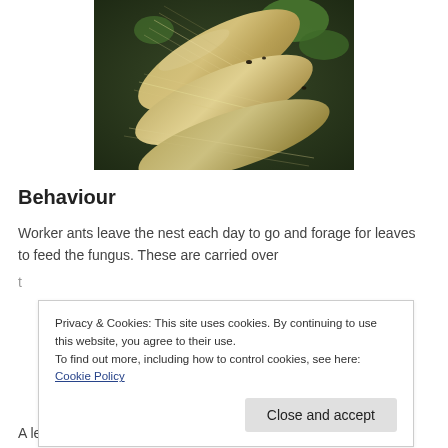[Figure (photo): Close-up photograph of leaf cutter ants on fibrous/hairy plant stems with green leaves visible against dark background]
Behaviour
Worker ants leave the nest each day to go and forage for leaves to feed the fungus. These are carried over
Privacy & Cookies: This site uses cookies. By continuing to use this website, you agree to their use.
To find out more, including how to control cookies, see here: Cookie Policy
A leaf cutter ant colony is made up of four different